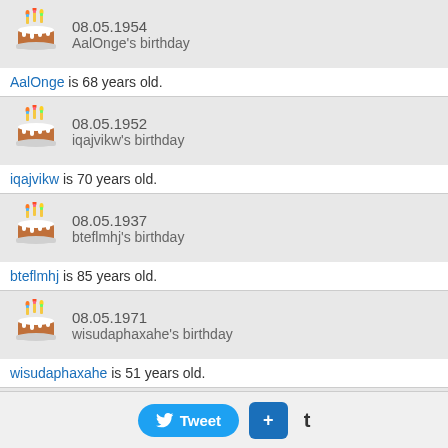[Figure (infographic): Birthday cake icon with candles for AalOnge, date 08.05.1954]
AalOnge is 68 years old.
[Figure (infographic): Birthday cake icon with candles for iqajvikw, date 08.05.1952]
iqajvikw is 70 years old.
[Figure (infographic): Birthday cake icon with candles for bteflmhj, date 08.05.1937]
bteflmhj is 85 years old.
[Figure (infographic): Birthday cake icon with candles for wisudaphaxahe, date 08.05.1971]
wisudaphaxahe is 51 years old.
[Figure (infographic): Birthday cake icon with candles for ubibnaq, date 08.05.1961]
ubibnaq is 61 years old.
[Figure (infographic): Birthday cake icon with candles for ibipukheneul, date 08.05.1987]
Tweet  +  t